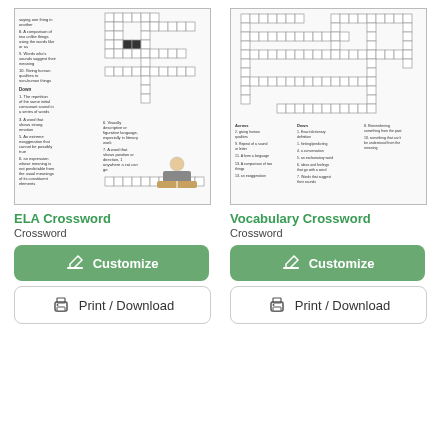[Figure (illustration): ELA Crossword puzzle preview image showing a crossword grid with clues and a small illustration of a figure reading a book]
[Figure (illustration): Vocabulary Crossword puzzle preview image showing a crossword grid with clues]
ELA Crossword
Vocabulary Crossword
Crossword
Crossword
Customize
Customize
Print / Download
Print / Download